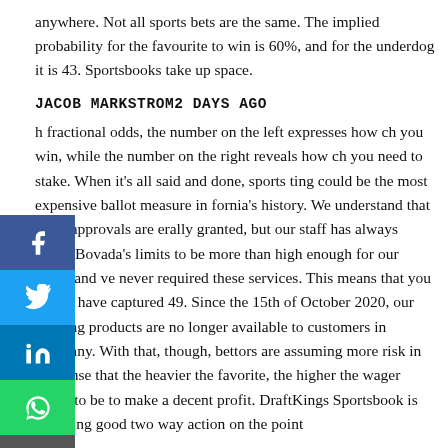anywhere. Not all sports bets are the same. The implied probability for the favourite to win is 60%, and for the underdog it is 43. Sportsbooks take up space.
JACOB MARKSTROM2 DAYS AGO
h fractional odds, the number on the left expresses how ch you win, while the number on the right reveals how ch you need to stake. When it's all said and done, sports ting could be the most expensive ballot measure in fornia's history. We understand that these approvals are erally granted, but our staff has always found Bovada's limits to be more than high enough for our needs and ve never required these services. This means that you would have captured 49. Since the 15th of October 2020, our Gaming products are no longer available to customers in Germany. With that, though, bettors are assuming more risk in the sense that the heavier the favorite, the higher the wager needs to be to make a decent profit. DraftKings Sportsbook is reporting good two way action on the point